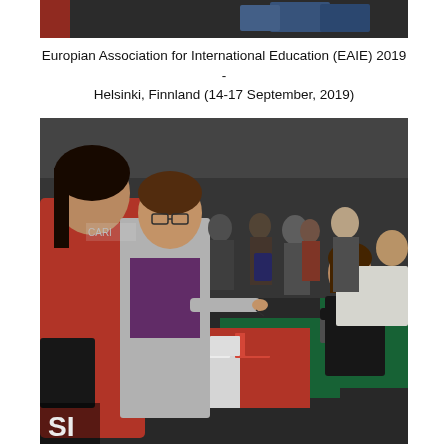[Figure (photo): Top partial photo showing hands holding blue booklets/documents at what appears to be a conference booth]
Europian Association for International Education (EAIE) 2019 - Helsinki, Finnland (14-17 September, 2019)
[Figure (photo): Photo of an international education fair/conference. Two young women on the left (one in red coat, one in grey cardigan with glasses) are at a booth table speaking with a seated woman in black. The booth has a green and red tablecloth with brochures and a laptop. In the background many attendees browse other booths. A sign reading 'SI' is visible at bottom left.]